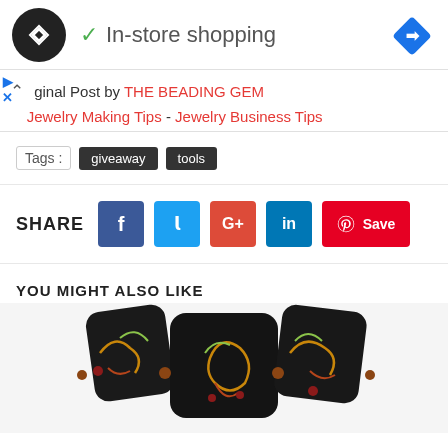[Figure (screenshot): Ad bar with circular logo, 'In-store shopping' text with checkmark, and blue diamond navigation badge]
ginal Post by THE BEADING GEM
Jewelry Making Tips - Jewelry Business Tips
Tags: giveaway tools
SHARE
YOU MIGHT ALSO LIKE
[Figure (photo): Dark polymer clay or enamel beaded necklace with colorful floral/leaf designs in gold, red, and green on black tiles]